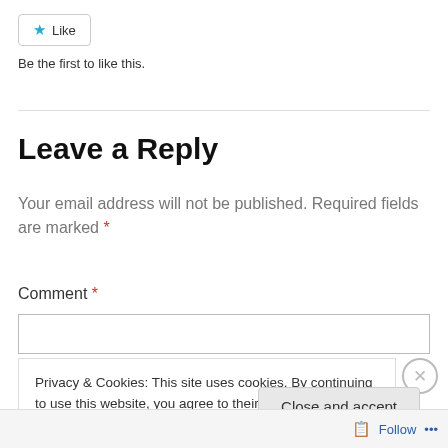[Figure (other): Like button with blue star icon and 'Like' text, bordered button]
Be the first to like this.
Leave a Reply
Your email address will not be published. Required fields are marked *
Comment *
Privacy & Cookies: This site uses cookies. By continuing to use this website, you agree to their use.
To find out more, including how to control cookies, see here: Cookie Policy
Close and accept
Follow ...